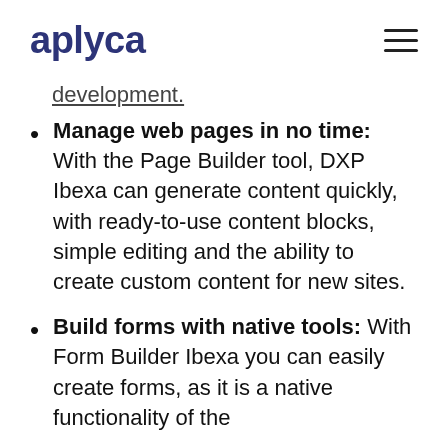aplyca
development.
Manage web pages in no time: With the Page Builder tool, DXP Ibexa can generate content quickly, with ready-to-use content blocks, simple editing and the ability to create custom content for new sites.
Build forms with native tools: With Form Builder Ibexa you can easily create forms, as it is a native functionality of the